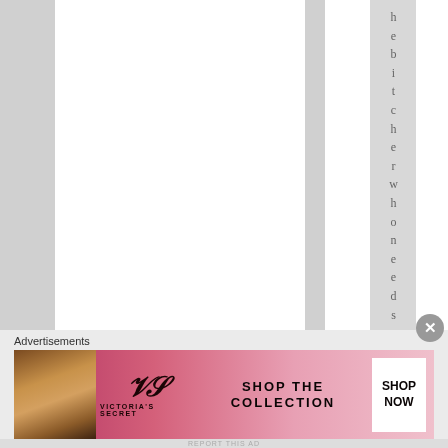[Figure (other): Striped vertical columns layout with alternating white and gray bands. A vertical text reading 'hebitcherwhooneeds' runs down one of the gray columns.]
h e b i t c h e r w h o n e e d s
Advertisements
[Figure (other): Victoria's Secret advertisement banner with model photo on left, VS script logo in center, 'SHOP THE COLLECTION' text, and 'SHOP NOW' button on white background.]